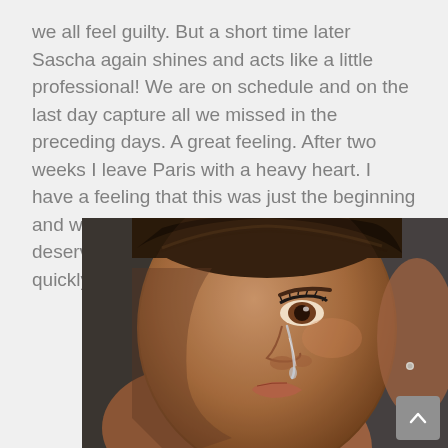we all feel guilty. But a short time later Sascha again shines and acts like a little professional! We are on schedule and on the last day capture all we missed in the preceding days. A great feeling. After two weeks I leave Paris with a heavy heart. I have a feeling that this was just the beginning and when "Paris - I hate to love you" deservedly finds a producer, we will all quickly see that the series is a hit..
[Figure (photo): Close-up portrait photo of a woman with tears on her cheek, looking upward. She has brown eyes, hoop-style small earrings, and short hair pulled back. The image is in black and white tones with some color.]